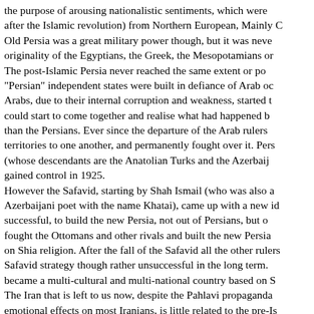the purpose of arousing nationalistic sentiments, which were after the Islamic revolution) from Northern European, Mainly C Old Persia was a great military power though, but it was neve originality of the Egyptians, the Greek, the Mesopotamians or The post-Islamic Persia never reached the same extent or po "Persian" independent states were built in defiance of Arab oc Arabs, due to their internal corruption and weakness, started t could start to come together and realise what had happened b than the Persians. Ever since the departure of the Arab rulers territories to one another, and permanently fought over it. Pers (whose descendants are the Anatolian Turks and the Azerbaij gained control in 1925. However the Safavid, starting by Shah Ismail (who was also a Azerbaijani poet with the name Khatai), came up with a new id successful, to build the new Persia, not out of Persians, but o fought the Ottomans and other rivals and built the new Persia on Shia religion. After the fall of the Safavid all the other rulers Safavid strategy though rather unsuccessful in the long term. became a multi-cultural and multi-national country based on S The Iran that is left to us now, despite the Pahlavi propaganda emotional effects on most Iranians, is little related to the pre-Is Persian empire, which was ruled by Aryan peoples (mostly Pe Iranian platou, included Pashtuns, Tajiks, Kurds and many oth never feel anything like belonging to Iran! Why? Because they persecuted for centuries by almost all Iranian Turkic, and also rulers because they did not accept Shiism.